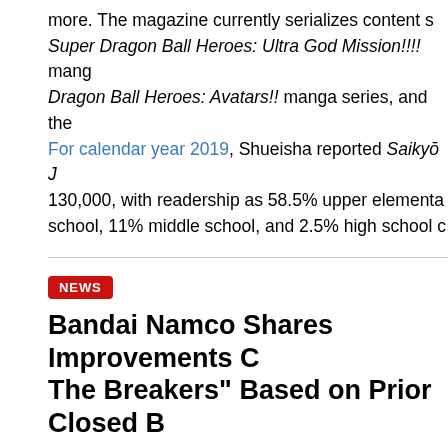more. The magazine currently serializes content s Super Dragon Ball Heroes: Ultra God Mission!!!! manga Dragon Ball Heroes: Avatars!! manga series, and the For calendar year 2019, Shueisha reported Saikyo J 130,000, with readership as 58.5% upper elementary school, 11% middle school, and 2.5% high school c
NEWS
Bandai Namco Shares Improvements C The Breakers" Based on Prior Closed B
Published by VegettoEX
28 July 2022, 3:55 PM EDT
Hot on the heels of the game's big release date an Bandai Namco has shared a plethora of updates